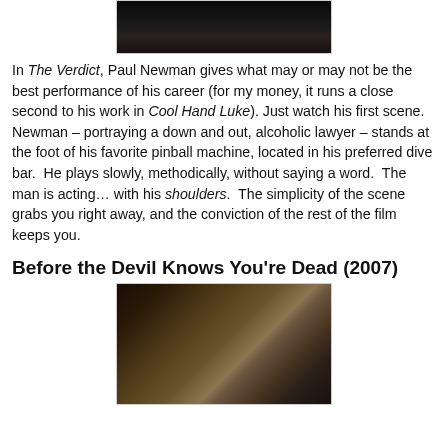[Figure (photo): Top portion of a movie still photo, dark toned scene]
In The Verdict, Paul Newman gives what may or may not be the best performance of his career (for my money, it runs a close second to his work in Cool Hand Luke). Just watch his first scene. Newman – portraying a down and out, alcoholic lawyer – stands at the foot of his favorite pinball machine, located in his preferred dive bar. He plays slowly, methodically, without saying a word. The man is acting… with his shoulders. The simplicity of the scene grabs you right away, and the conviction of the rest of the film keeps you.
Before the Devil Knows You're Dead (2007)
[Figure (photo): Movie still from Before the Devil Knows You're Dead (2007), showing two men in a bar or restaurant setting]